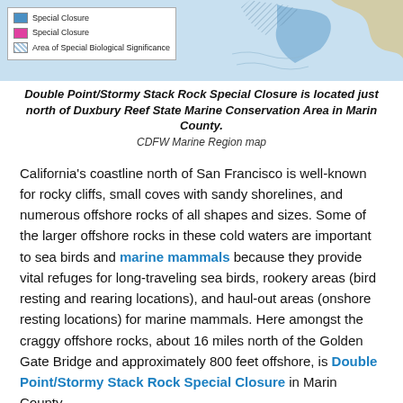[Figure (map): Partial map showing coastline north of San Francisco with legend items: Special Closure (blue), Special Closure (pink/magenta), Area of Special Biological Significance (hatched). Coastal landmass visible on the right side.]
Double Point/Stormy Stack Rock Special Closure is located just north of Duxbury Reef State Marine Conservation Area in Marin County. CDFW Marine Region map
California's coastline north of San Francisco is well-known for rocky cliffs, small coves with sandy shorelines, and numerous offshore rocks of all shapes and sizes. Some of the larger offshore rocks in these cold waters are important to sea birds and marine mammals because they provide vital refuges for long-traveling sea birds, rookery areas (bird resting and rearing locations), and haul-out areas (onshore resting locations) for marine mammals. Here amongst the craggy offshore rocks, about 16 miles north of the Golden Gate Bridge and approximately 800 feet offshore, is Double Point/Stormy Stack Rock Special Closure in Marin County.